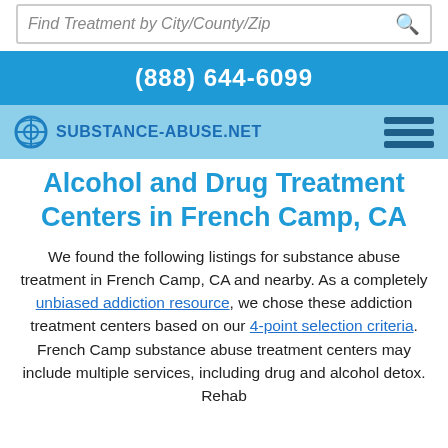Find Treatment by City/County/Zip
(888) 644-6099
Substance-Abuse.net
Alcohol and Drug Treatment Centers in French Camp, CA
We found the following listings for substance abuse treatment in French Camp, CA and nearby. As a completely unbiased addiction resource, we chose these addiction treatment centers based on our 4-point selection criteria. French Camp substance abuse treatment centers may include multiple services, including drug and alcohol detox. Rehab